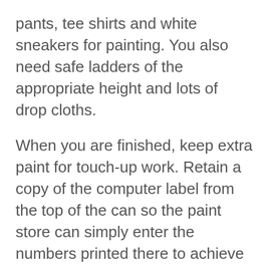pants, tee shirts and white sneakers for painting. You also need safe ladders of the appropriate height and lots of drop cloths.
When you are finished, keep extra paint for touch-up work. Retain a copy of the computer label from the top of the can so the paint store can simply enter the numbers printed there to achieve a perfect match. The wooden paint stirrers are great for color matching if you don't have the computer codes. Simply dip a clean stick into the paint you may want match; let dry; then on the unpainted part, write the name of the room or area for which the color is intended. Also make sure you write down the sheen of the paint (flat? matte? semi-gloss? egg shell?), as colors will appear to be